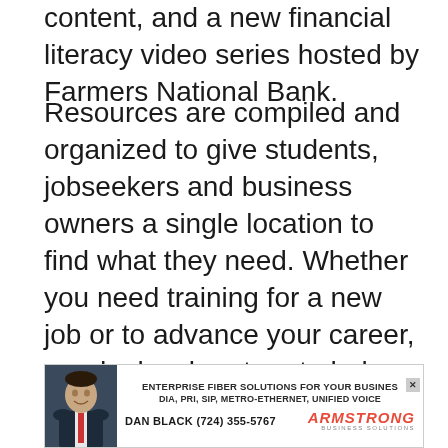content, and a new financial literacy video series hosted by Farmers National Bank.
Resources are compiled and organized to give students, jobseekers and business owners a single location to find what they need. Whether you need training for a new job or to advance your career, need a local partner to help develop your workforce, or need assistance to get your business off the ground, check our Resources page for a comprehensive list that will be continually updated.
[Figure (infographic): Advertisement banner for Armstrong Business Solutions. Shows a man in a suit on the left side, with text: ENTERPRISE FIBER SOLUTIONS FOR YOUR BUSINESS, DIA, PRI, SIP, METRO-ETHERNET, UNIFIED VOICE, DAN BLACK (724) 355-5767, ARMSTRONG BUSINESS SOLUTIONS logo in red. Has an X close button.]